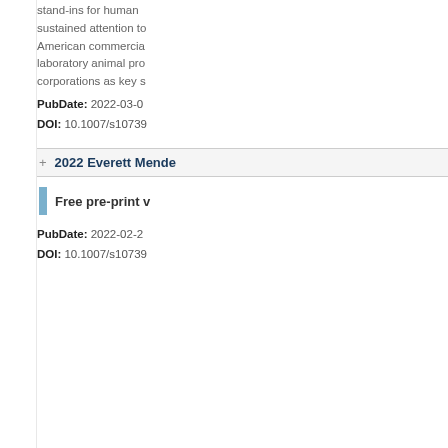stand-ins for human sustained attention to American commercial laboratory animal pro corporations as key s
PubDate: 2022-03-0 DOI: 10.1007/s10739
2022 Everett Mende
Free pre-print v
PubDate: 2022-02-2 DOI: 10.1007/s10739
JournalTOCs
School of Mathematical and Computer Sciences
Heriot-Watt University
Edinburgh, EH14 4AS, UK
Email: journaltocs@hw.ac.uk
Tel: +00 44 (0)131 4513762